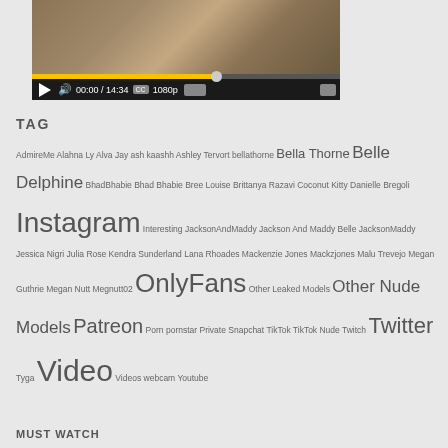[Figure (screenshot): Video player showing a video at 00:00 / 14:34, 1080p quality, with yellow progress bar and standard video controls including play button, volume, CC, quality selector, and fullscreen button]
TAG
AdmireMe Alahna Ly Alva Jay ash kaashh Ashley Tervort bellathorne Bella Thorne Belle Delphine BhadBhabie Bhad Bhabie Bree Louise Brittanya Razavi Coconut Kitty Danielle Bregoli Instagram Interesting JacksonAndMaddy Jackson And Maddy Belle JacksonMaddy Jessica Nigri Julia Rose Kendra Sunderland Lana Rhoades Mackenzie Jones Mackzjones Malu Trevejo Megan Guthrie Megan Nutt Megnutt02 OnlyFans Other Leaked Models Other Nude Models Patreon Porn pornstar Private Snapchat TikTok TikTok Nude Twitch Twitter Tyga Video Videos webcam Youtube
MUST WATCH